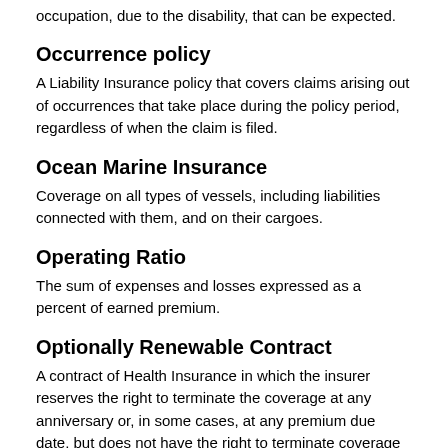occupation, due to the disability, that can be expected.
Occurrence policy
A Liability Insurance policy that covers claims arising out of occurrences that take place during the policy period, regardless of when the claim is filed.
Ocean Marine Insurance
Coverage on all types of vessels, including liabilities connected with them, and on their cargoes.
Operating Ratio
The sum of expenses and losses expressed as a percent of earned premium.
Optionally Renewable Contract
A contract of Health Insurance in which the insurer reserves the right to terminate the coverage at any anniversary or, in some cases, at any premium due date, but does not have the right to terminate coverage between such dates.